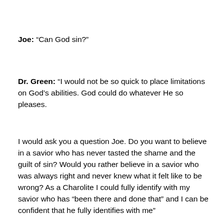Joe: “Can God sin?”
Dr. Green: “I would not be so quick to place limitations on God’s abilities. God could do whatever He so pleases.
I would ask you a question Joe. Do you want to believe in a savior who has never tasted the shame and the guilt of sin? Would you rather believe in a savior who was always right and never knew what it felt like to be wrong? As a Charolite I could fully identify with my savior who has “been there and done that” and I can be confident that he fully identifies with me”